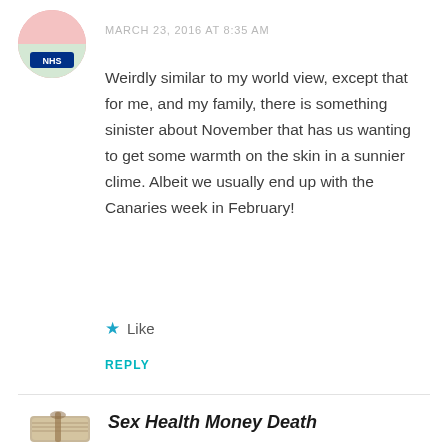[Figure (photo): Circular avatar image with colorful background and NHS badge]
MARCH 23, 2016 AT 8:35 AM
Weirdly similar to my world view, except that for me, and my family, there is something sinister about November that has us wanting to get some warmth on the skin in a sunnier clime. Albeit we usually end up with the Canaries week in February!
★ Like
REPLY
[Figure (photo): Image of a bundle of money tied with string]
Sex Health Money Death